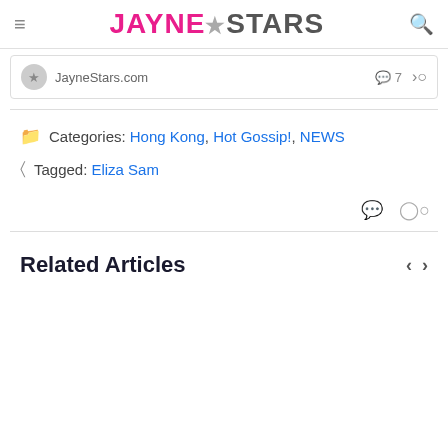JayneStars
JayneStars.com   7
Categories: Hong Kong, Hot Gossip!, NEWS
Tagged: Eliza Sam
Related Articles